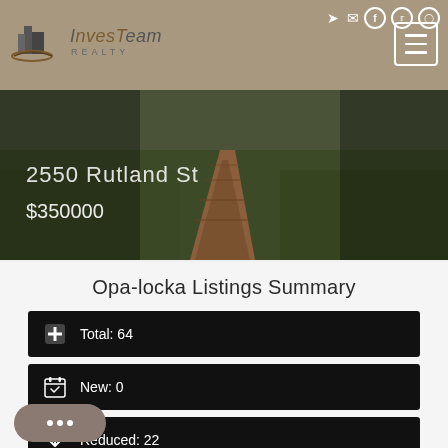InvesTeam Realty
[Figure (screenshot): Hero image of a brick path through grass with overlay text showing property address 2550 Rutland St and price $350000]
Opa-locka Listings Summary
Total: 64
New: 0
Reduced: 22